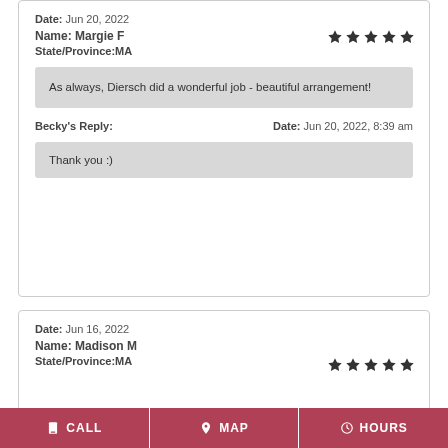Date: Jun 20, 2022
Name: Margie F
State/Province: MA
As always, Diersch did a wonderful job - beautiful arrangement!
Becky's Reply:   Date: Jun 20, 2022, 8:39 am
Thank you :)
Date: Jun 16, 2022
Name: Madison M
State/Province: MA
CALL   MAP   HOURS